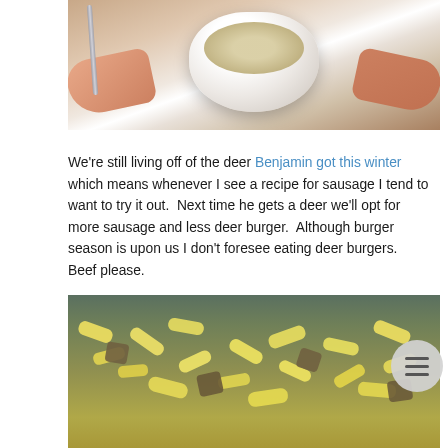[Figure (photo): Photo of hands holding a white bowl filled with pasta (ziti/penne) dish, with a fork visible on the left side. Green sleeve visible.]
We're still living off of the deer Benjamin got this winter which means whenever I see a recipe for sausage I tend to want to try it out.  Next time he gets a deer we'll opt for more sausage and less deer burger.  Although burger season is upon us I don't foresee eating deer burgers.  Beef please.
[Figure (photo): Close-up photo of penne pasta mixed with sausage and sauce in a dish, viewed from slightly above.]